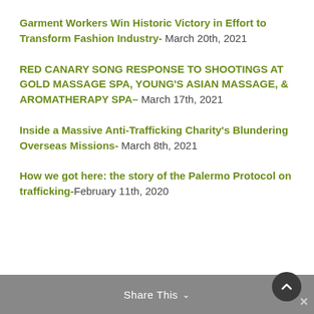Garment Workers Win Historic Victory in Effort to Transform Fashion Industry- March 20th, 2021
RED CANARY SONG RESPONSE TO SHOOTINGS AT GOLD MASSAGE SPA, YOUNG'S ASIAN MASSAGE, & AROMATHERAPY SPA– March 17th, 2021
Inside a Massive Anti-Trafficking Charity's Blundering Overseas Missions- March 8th, 2021
How we got here: the story of the Palermo Protocol on trafficking-February 11th, 2020
Share This ∨